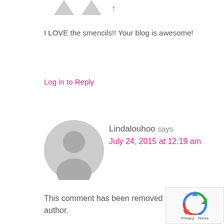I LOVE the smencils!! Your blog is awesome!
Log in to Reply
Lindalouhoo says
July 24, 2015 at 12:19 am
This comment has been removed by the author.